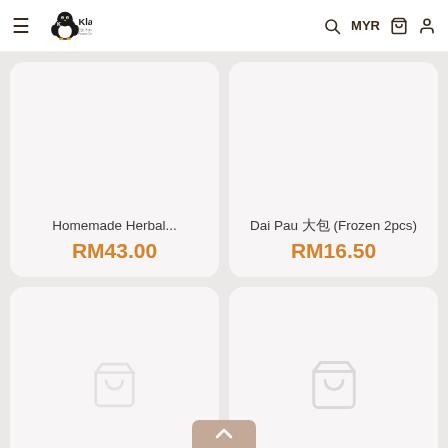[Figure (screenshot): Klang Frozen Centre e-commerce website header with hamburger menu, penguin logo, search icon, MYR currency selector, cart icon, and user icon]
Homemade Herbal...
RM43.00
Dai Pau 大包 (Frozen 2pcs)
RM16.50
[Figure (other): Product card placeholder with shopping cart icon, no image loaded]
[Figure (other): Product card placeholder with shopping cart icon, no image loaded]